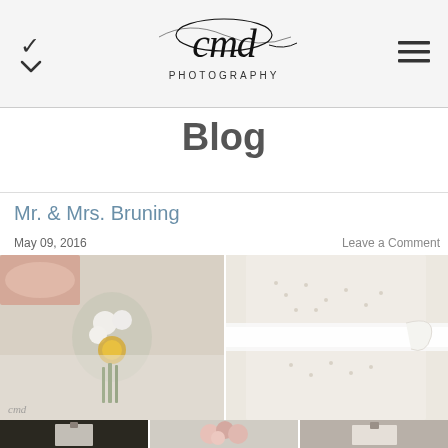CMD Photography logo with navigation chevron and hamburger menu
Blog
Mr. & Mrs. Bruning
May 09, 2016
Leave a Comment
[Figure (photo): Two wedding detail photos: left shows bride holding bouquet with gold brooch over lace dress; right shows close-up of beaded/lace wedding dress with ribbon sash]
[Figure (photo): Three smaller wedding photos in a row at the bottom: wedding dress on hanger, pink floral bouquet detail, dress on hanger]